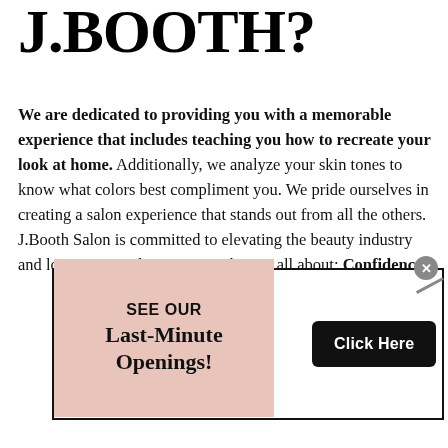J.BOOTH?
We are dedicated to providing you with a memorable experience that includes teaching you how to recreate your look at home. Additionally, we analyze your skin tones to know what colors best compliment you. We pride ourselves in creating a salon experience that stands out from all the others. J.Booth Salon is committed to elevating the beauty industry and love to remind our guests what it's all about: Confidence
[Figure (infographic): Popup banner with pink background showing 'SEE OUR Last-Minute Openings!' text on left and a black 'Click Here' button on right, with a close (x) button in the upper right corner.]